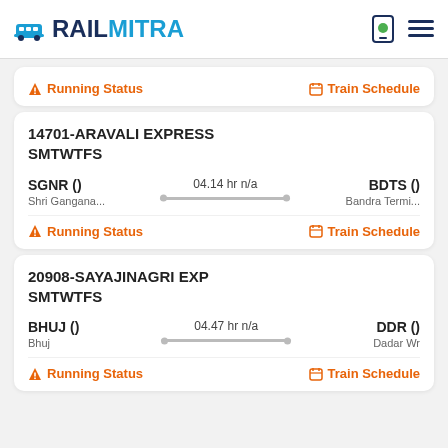RAILMITRA
Running Status | Train Schedule
14701-ARAVALI EXPRESS
SMTWTFS
SGNR () | 04.14 hr n/a | BDTS ()
Shri Gangana... | Bandra Termi...
Running Status | Train Schedule
20908-SAYAJINAGRI EXP
SMTWTFS
BHUJ () | 04.47 hr n/a | DDR ()
Bhuj | Dadar Wr
Running Status | Train Schedule